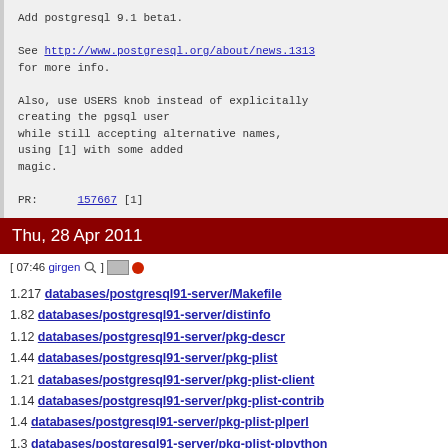Add postgresql 9.1 beta1.

See http://www.postgresql.org/about/news.1313
for more info.

Also, use USERS knob instead of explicitally
creating the pgsql user
while still accepting alternative names,
using [1] with some added
magic.

PR:      157667 [1]
Thu, 28 Apr 2011
[ 07:46 girgen ] [envelope icon] [red dot]
1.217 databases/postgresql91-server/Makefile
1.82 databases/postgresql91-server/distinfo
1.12 databases/postgresql91-server/pkg-descr
1.44 databases/postgresql91-server/pkg-plist
1.21 databases/postgresql91-server/pkg-plist-client
1.14 databases/postgresql91-server/pkg-plist-contrib
1.4 databases/postgresql91-server/pkg-plist-plperl
1.3 databases/postgresql91-server/pkg-plist-plpython
1.4 databases/postgresql91-server/pkg-plist-pltcl
1.32 databases/postgresql91-server/pkg-plist-server